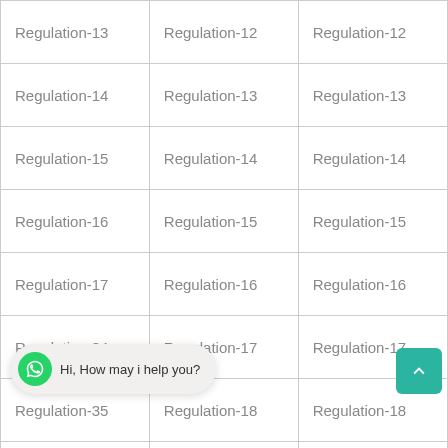| Regulation-13 | Regulation-12 | Regulation-12 |
| Regulation-14 | Regulation-13 | Regulation-13 |
| Regulation-15 | Regulation-14 | Regulation-14 |
| Regulation-16 | Regulation-15 | Regulation-15 |
| Regulation-17 | Regulation-16 | Regulation-16 |
| Regulation-34 | Regulation-17 | Regulation-17 |
| Regulation-35 | Regulation-18 | Regulation-18 |
| Regulation-41 | Regulation-19 | Regulation-19 |
|  | Regulation-21 | Regulation-21 |
|  |  |  |